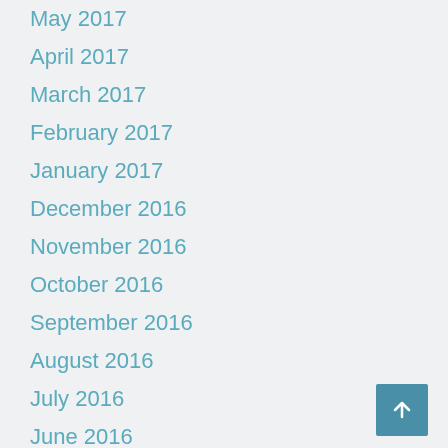May 2017
April 2017
March 2017
February 2017
January 2017
December 2016
November 2016
October 2016
September 2016
August 2016
July 2016
June 2016
May 2016
April 2016
March 2016
February 2016